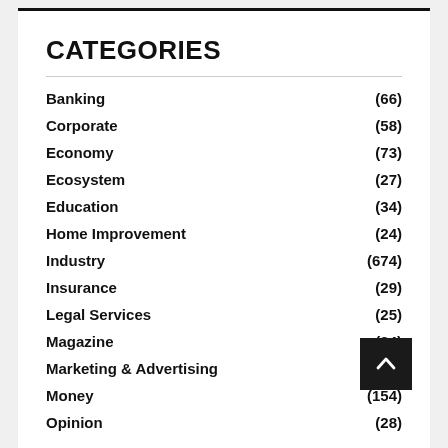CATEGORIES
Banking (66)
Corporate (58)
Economy (73)
Ecosystem (27)
Education (34)
Home Improvement (24)
Industry (674)
Insurance (29)
Legal Services (25)
Magazine (24)
Marketing & Advertising
Money (154)
Opinion (28)